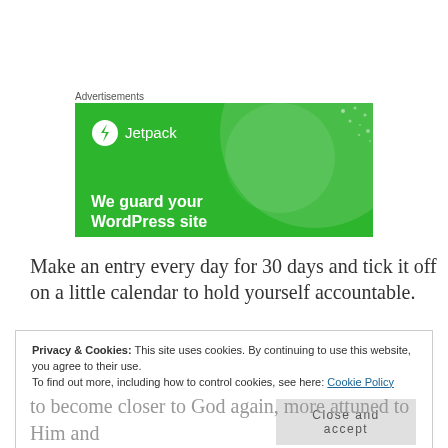Advertisements
[Figure (illustration): Jetpack advertisement banner with green background, Jetpack logo (lightning bolt in white circle), text 'We guard your WordPress site']
Make an entry every day for 30 days and tick it off on a little calendar to hold yourself accountable.
Privacy & Cookies: This site uses cookies. By continuing to use this website, you agree to their use.
To find out more, including how to control cookies, see here: Cookie Policy
Close and accept
to become closer to God again, more attuned to Him and